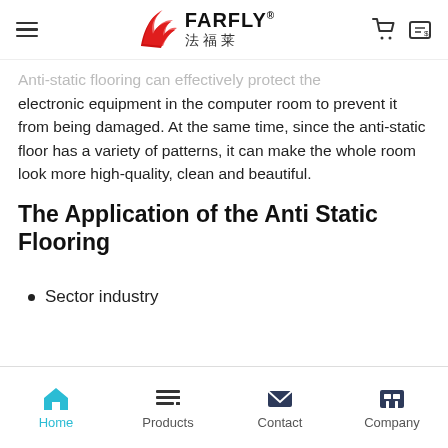FARFLY 法福莱 (logo header with navigation icons)
Anti-static flooring can effectively protect the electronic equipment in the computer room to prevent it from being damaged. At the same time, since the anti-static floor has a variety of patterns, it can make the whole room look more high-quality, clean and beautiful.
The Application of the Anti Static Flooring
Sector industry
Home | Products | Contact | Company